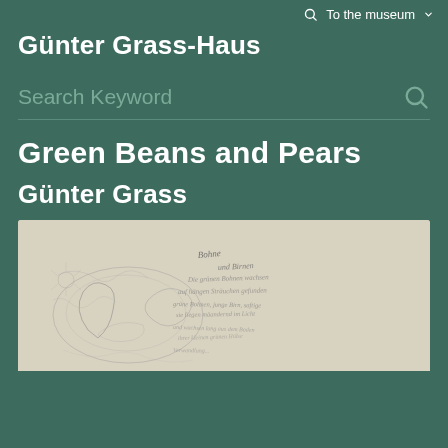To the museum
Günter Grass-Haus
Search Keyword
Green Beans and Pears
Günter Grass
[Figure (illustration): Pencil sketch drawing with handwritten text, showing organic shapes resembling beans and pears with cursive handwriting overlaid throughout the image]